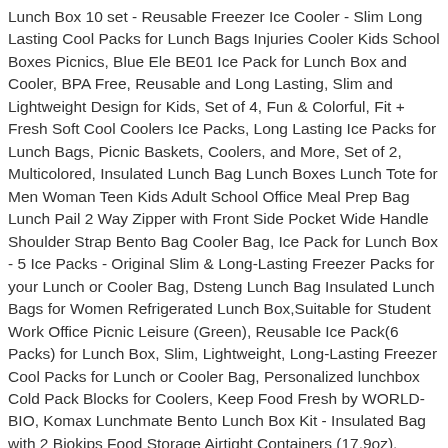Lunch Box 10 set - Reusable Freezer Ice Cooler - Slim Long Lasting Cool Packs for Lunch Bags Injuries Cooler Kids School Boxes Picnics, Blue Ele BE01 Ice Pack for Lunch Box and Cooler, BPA Free, Reusable and Long Lasting, Slim and Lightweight Design for Kids, Set of 4, Fun & Colorful, Fit + Fresh Soft Cool Coolers Ice Packs, Long Lasting Ice Packs for Lunch Bags, Picnic Baskets, Coolers, and More, Set of 2, Multicolored, Insulated Lunch Bag Lunch Boxes Lunch Tote for Men Woman Teen Kids Adult School Office Meal Prep Bag Lunch Pail 2 Way Zipper with Front Side Pocket Wide Handle Shoulder Strap Bento Bag Cooler Bag, Ice Pack for Lunch Box - 5 Ice Packs - Original Slim & Long-Lasting Freezer Packs for your Lunch or Cooler Bag, Dsteng Lunch Bag Insulated Lunch Bags for Women Refrigerated Lunch Box,Suitable for Student Work Office Picnic Leisure (Green), Reusable Ice Pack(6 Packs) for Lunch Box, Slim, Lightweight, Long-Lasting Freezer Cool Packs for Lunch or Cooler Bag, Personalized lunchbox Cold Pack Blocks for Coolers, Keep Food Fresh by WORLD-BIO, Komax Lunchmate Bento Lunch Box Kit - Insulated Bag with 2 Biokips Food Storage Airtight Containers (17.9oz), Utensils and Chopsticks - Bpa Free Plastic with